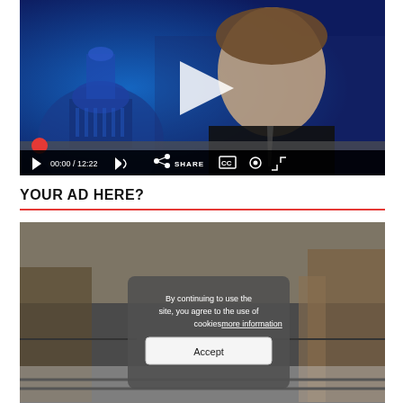[Figure (screenshot): Video player showing a news anchor in front of a blue Capitol building background. Controls show play button, 00:00 / 12:22 timecode, volume, share, CC, settings, and fullscreen icons.]
YOUR AD HERE?
[Figure (screenshot): A second video/image showing a snowy post-apocalyptic scene with a cookie consent overlay. The overlay reads: 'By continuing to use the site, you agree to the use of cookies. more information' with an Accept button.]